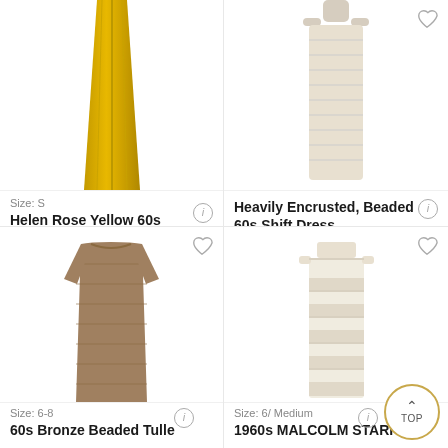[Figure (photo): Yellow 60s beaded evening dress on plain background, cropped at top]
[Figure (photo): White/cream beaded 60s shift dress on mannequin, cropped at top]
Size: S
Helen Rose Yellow 60s Beaded Evening Dress
Sold | $895
Heavily Encrusted, Beaded 60s Shift Dress
Sold
[Figure (photo): Bronze/gold beaded tulle short dress on plain background]
[Figure (photo): 1960s cream/white tiered beaded dress on plain background]
Size: 6-8
60s Bronze Beaded Tulle
Size: 6/ Medium
1960s MALCOLM STARR